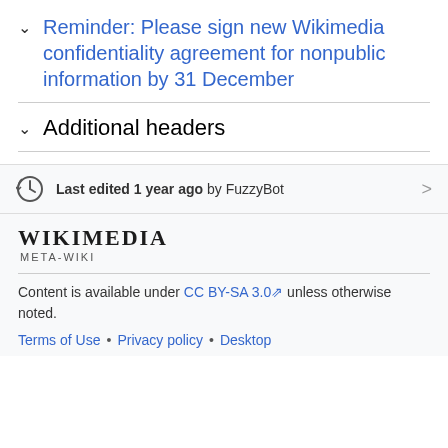Reminder: Please sign new Wikimedia confidentiality agreement for nonpublic information by 31 December
Additional headers
Last edited 1 year ago by FuzzyBot
[Figure (logo): Wikimedia Meta-Wiki logo wordmark]
Content is available under CC BY-SA 3.0 unless otherwise noted.
Terms of Use • Privacy policy • Desktop